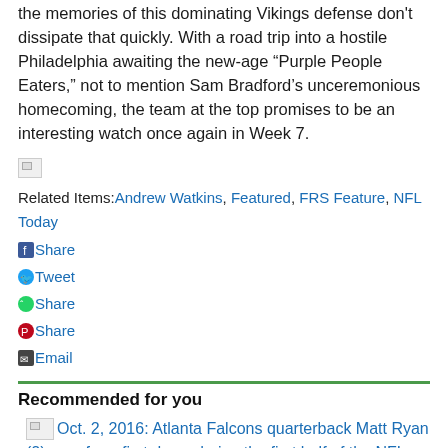the memories of this dominating Vikings defense don't dissipate that quickly. With a road trip into a hostile Philadelphia awaiting the new-age “Purple People Eaters,” not to mention Sam Bradford’s unceremonious homecoming, the team at the top promises to be an interesting watch once again in Week 7.
[Figure (other): Small broken/placeholder image icon]
Related Items: Andrew Watkins, Featured, FRS Feature, NFL Today
Share (Facebook)
Tweet (Twitter)
Share (WhatsApp)
Share (Pinterest)
Email
Recommended for you
[Figure (photo): Oct. 2, 2016: Atlanta Falcons quarterback Matt Ryan (2) runs for a first down during the first half of the NFL game between the Carolina Panthers and the Atlanta Falcons. The Falcons beat the Panthers 48 - 33 at the Georgia Dome in Atlanta, Georgia. (Photos by Frank]